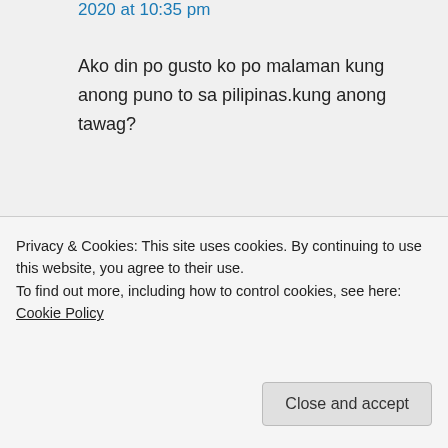2020 at 10:35 pm
Ako din po gusto ko po malaman kung anong puno to sa pilipinas.kung anong tawag?
Cainta Plant Nursery on September 29, 2020 at 10:22 am
Hi Mildred!
Privacy & Cookies: This site uses cookies. By continuing to use this website, you agree to their use.
To find out more, including how to control cookies, see here: Cookie Policy